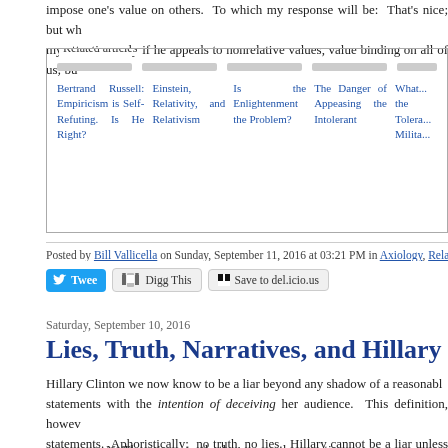impose one's value on others. To which my response will be: That's nice; but wh... my attention only if he appeals to nonrelative values, value binding on all of us; bu...
[Figure (other): Related articles box with links: Bertrand Russell: Empiricism is Self-Refuting. Is He Right?, Einstein, Relativity, and Relativism, Is the Enlightenment the Problem?, The Danger of Appeasing the Intolerant, What... the Tolera... Milita...]
Posted by Bill Vallicella on Sunday, September 11, 2016 at 03:21 PM in Axiology, Relativism | P...
Tweet  Digg This  Save to del.icio.us
Saturday, September 10, 2016
Lies, Truth, Narratives, and Hillary
Hillary Clinton we now know to be a liar beyond any shadow of a reasonab... statements with the intention of deceiving her audience. This definition, howeve... statements. Aphoristically: no truth, no lies. Hillary cannot be a liar unless there... Here, perhaps, is a way to defend Hillary. Perhaps the outrageous things she says...
N. There is no truth; there are only narratives.
It follows that (N) itself is only a narrative, or part of one. For if there is no truth... think so. Suppose you want to persuade me to accept (N). How will you proce...